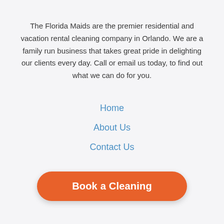The Florida Maids are the premier residential and vacation rental cleaning company in Orlando. We are a family run business that takes great pride in delighting our clients every day. Call or email us today, to find out what we can do for you.
Home
About Us
Contact Us
Book a Cleaning